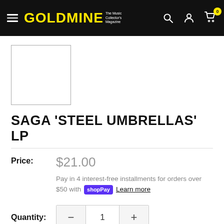GOLDMINE The Music Collector's Magazine
[Figure (photo): Small blank product thumbnail image placeholder with grey border]
SAGA 'STEEL UMBRELLAS' LP
Price: $21.00
Pay in 4 interest-free installments for orders over $50 with Shop Pay Learn more
Quantity: 1